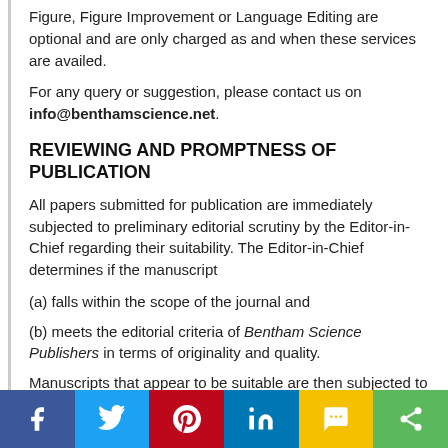Figure, Figure Improvement or Language Editing are optional and are only charged as and when these services are availed.
For any query or suggestion, please contact us on info@benthamscience.net.
REVIEWING AND PROMPTNESS OF PUBLICATION
All papers submitted for publication are immediately subjected to preliminary editorial scrutiny by the Editor-in-Chief regarding their suitability. The Editor-in-Chief determines if the manuscript
(a) falls within the scope of the journal and
(b) meets the editorial criteria of Bentham Science Publishers in terms of originality and quality.
Manuscripts that appear to be suitable are then subjected to single/ double blind peer-review by, usually three, neutral eminent experts. The services of eminent international experts are sought through invitations to conduct the peer-review of a submitted manuscript, keeping in view the scope of the manuscript and the expertise of the reviewers. The identity of the reviewers is
Social sharing bar: Facebook, Twitter, Pinterest, LinkedIn, SMS, Share